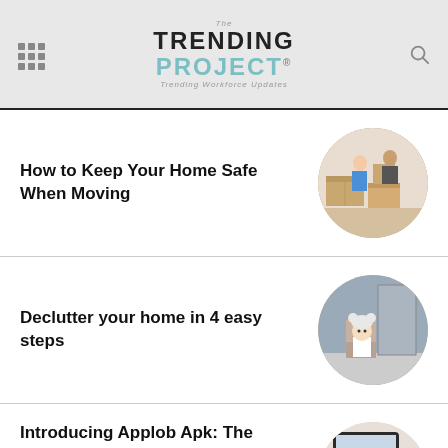The Trending Project — Trending Workforce Updates
How to Keep Your Home Safe When Moving
[Figure (photo): Two people packing cardboard moving boxes in a room]
Declutter your home in 4 easy steps
[Figure (photo): Young child in a bear hat sitting and drawing]
Introducing Applob Apk: The app that will help you customize your Android
[Figure (photo): Apple Mac computer and keyboard on a desk]